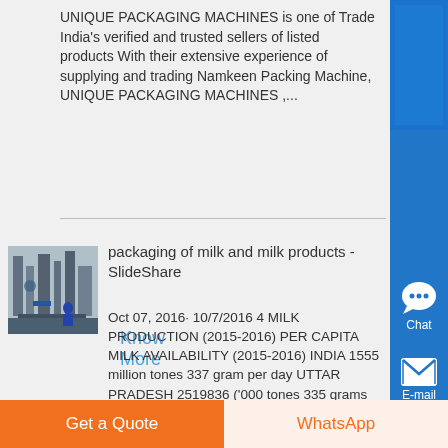UNIQUE PACKAGING MACHINES is one of Trade India's verified and trusted sellers of listed products With their extensive experience of supplying and trading Namkeen Packing Machine, UNIQUE PACKAGING MACHINES ,...
Know More
[Figure (photo): Thumbnail image of industrial packaging machinery]
packaging of milk and milk products - SlideShare
Oct 07, 2016· 10/7/2016 4 MILK PRODUCTION (2015-2016) PER CAPITA MILK AVAILABILITY (2015-2016) INDIA 1555 million tones 337 gram per day UTTAR PRADESH 2519836 ('000 tones 335 grams per day Source: Press Information Bureau 5 10/7/2016 5 RANK COUNTRY AMOUNT OF MILK (MILLION TONNES) 1 India...
Get a Quote
WhatsApp